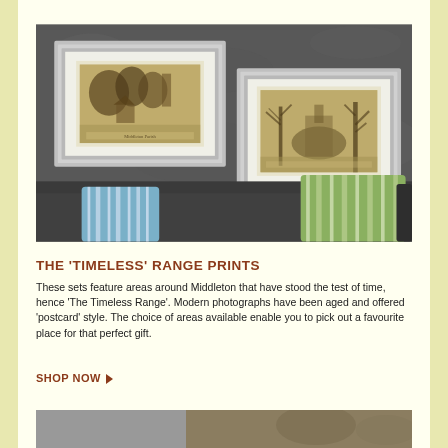[Figure (photo): Interior scene showing two sepia-toned framed prints hanging on a dark textured wall above a dark sofa with blue and green striped cushions. The framed prints show outdoor scenes in a vintage postcard style.]
THE 'TIMELESS' RANGE PRINTS
These sets feature areas around Middleton that have stood the test of time, hence 'The Timeless Range'. Modern photographs have been aged and offered 'postcard' style. The choice of areas available enable you to pick out a favourite place for that perfect gift.
SHOP NOW ▶